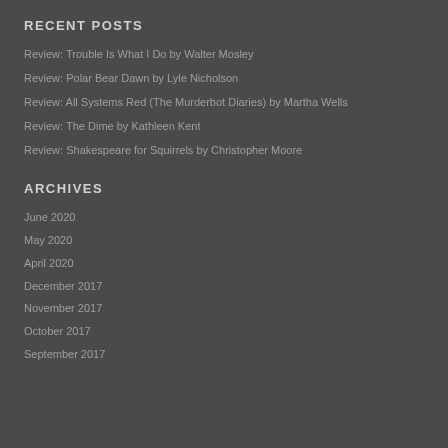RECENT POSTS
Review: Trouble Is What I Do by Walter Mosley
Review: Polar Bear Dawn by Lyle Nicholson
Review: All Systems Red (The Murderbot Diaries) by Martha Wells
Review: The Dime by Kathleen Kent
Review: Shakespeare for Squirrels by Christopher Moore
ARCHIVES
June 2020
May 2020
April 2020
December 2017
November 2017
October 2017
September 2017